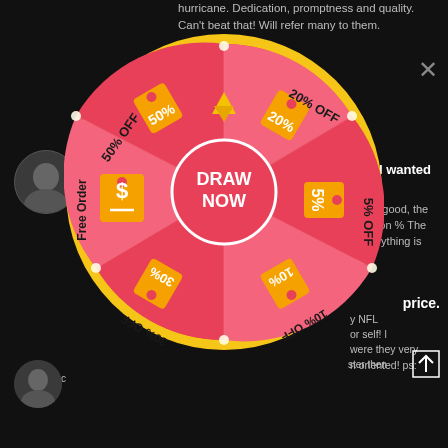hurricane. Dedication, promptness and quality. Can't beat that! Will refer many to them.
ROGER / Facebook
★★★★☆
Cute jerseys. Will work for what I wanted them for.
seller is good, the inscription % The seller erything is
[Figure (infographic): A spin-the-wheel prize wheel with a red/pink background and yellow border. Sections labeled: 50% OFF, 20% OFF, 5% OFF, 10% OFF, 30% OFF, Free Order. Orange price tag icons in each section. Center circle reads DRAW NOW with a yellow arrow pointer at top.]
price.
y NFL or self! l were they very n oriented! ps: ster then
desc